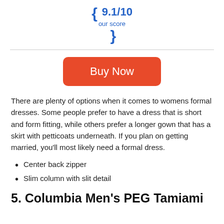{ 9.1/10 our score }
[Figure (other): Buy Now button (orange/red rounded rectangle)]
There are plenty of options when it comes to womens formal dresses. Some people prefer to have a dress that is short and form fitting, while others prefer a longer gown that has a skirt with petticoats underneath. If you plan on getting married, you'll most likely need a formal dress.
Center back zipper
Slim column with slit detail
5. Columbia Men's PEG Tamiami